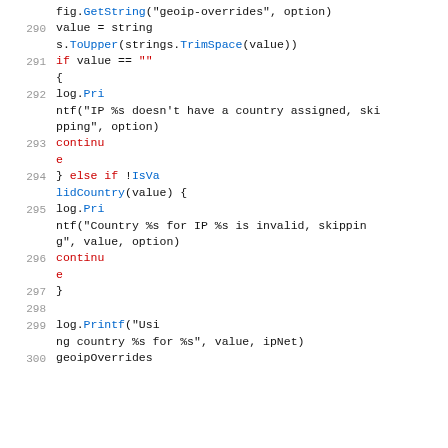Code snippet showing Go source code lines 289-300 with geoip override logic including GetString, ToUpper, TrimSpace, IsValidCountry, log.Printf calls and continue/else branching.